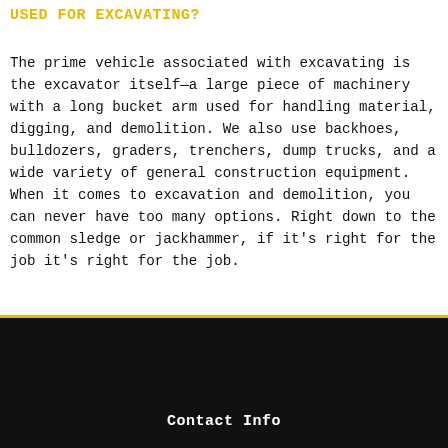USED FOR EXCAVATING?
The prime vehicle associated with excavating is the excavator itself—a large piece of machinery with a long bucket arm used for handling material, digging, and demolition. We also use backhoes, bulldozers, graders, trenchers, dump trucks, and a wide variety of general construction equipment. When it comes to excavation and demolition, you can never have too many options. Right down to the common sledge or jackhammer, if it's right for the job it's right for the job.
Contact Info